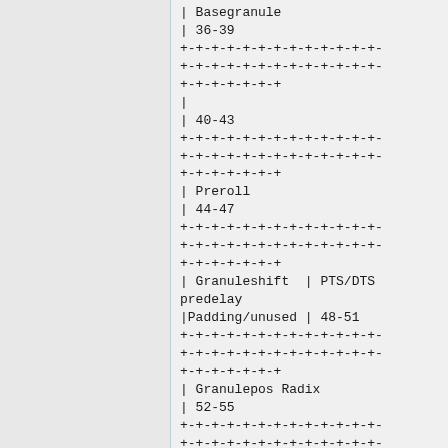| Basegranule
| 36-39
+-+-+-+-+-+-+-+-+-+-+-+-+-
+-+-+-+-+-+-+-+-+-+-+-+-+-
+-+-+-+-+-+-+
|
| 40-43
+-+-+-+-+-+-+-+-+-+-+-+-+-
+-+-+-+-+-+-+-+-+-+-+-+-+-
+-+-+-+-+-+-+
| Preroll
| 44-47
+-+-+-+-+-+-+-+-+-+-+-+-+-
+-+-+-+-+-+-+-+-+-+-+-+-+-
+-+-+-+-+-+-+
| Granuleshift  | PTS/DTS predelay
|Padding/unused | 48-51
+-+-+-+-+-+-+-+-+-+-+-+-+-
+-+-+-+-+-+-+-+-+-+-+-+-+-
+-+-+-+-+-+-+
| Granulepos Radix
| 52-55
+-+-+-+-+-+-+-+-+-+-+-+-+-
+-+-+-+-+-+-+-+-+-+-+-+-+-